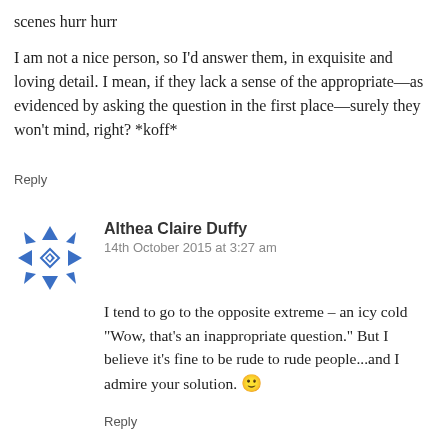scenes hurr hurr
I am not a nice person, so I’d answer them, in exquisite and loving detail. I mean, if they lack a sense of the appropriate—as evidenced by asking the question in the first place—surely they won’t mind, right? *koff*
Reply
[Figure (illustration): Decorative avatar icon: a geometric blue and white snowflake-like pattern in a circle]
Althea Claire Duffy
14th October 2015 at 3:27 am
I tend to go to the opposite extreme – an icy cold “Wow, that’s an inappropriate question.” But I believe it’s fine to be rude to rude people...and I admire your solution. 🙂
Reply